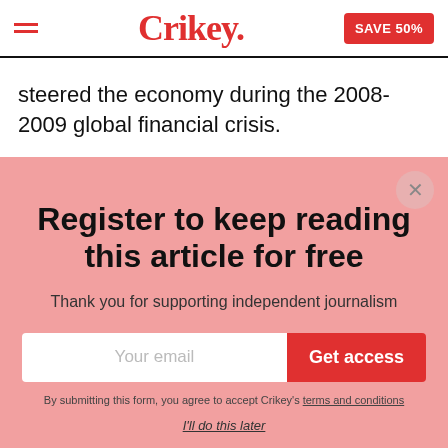Crikey. SAVE 50%
steered the economy during the 2008-2009 global financial crisis.
Register to keep reading this article for free
Thank you for supporting independent journalism
Your email
Get access
By submitting this form, you agree to accept Crikey's terms and conditions
I'll do this later